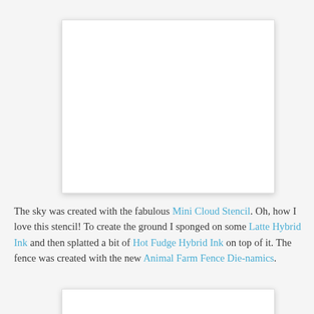[Figure (photo): White blank image placeholder box with drop shadow, top of page]
The sky was created with the fabulous Mini Cloud Stencil. Oh, how I love this stencil! To create the ground I sponged on some Latte Hybrid Ink and then splatted a bit of Hot Fudge Hybrid Ink on top of it. The fence was created with the new Animal Farm Fence Die-namics.
[Figure (photo): White blank image placeholder box with drop shadow, bottom of page (partially visible)]